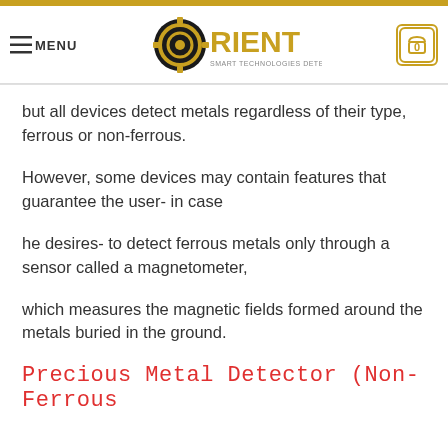MENU | ORIENT SMART TECHNOLOGIES DETECTOR | 0
but all devices detect metals regardless of their type, ferrous or non-ferrous.
However, some devices may contain features that guarantee the user- in case
he desires- to detect ferrous metals only through a sensor called a magnetometer,
which measures the magnetic fields formed around the metals buried in the ground.
Precious Metal Detector (Non-Ferrous